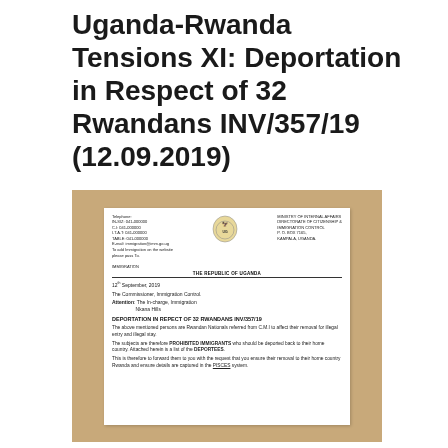Uganda-Rwanda Tensions XI: Deportation in Respect of 32 Rwandans INV/357/19 (12.09.2019)
[Figure (photo): Photograph of an official Ugandan government document on a wooden table. The document is from the Ministry of Internal Affairs, Directorate of Citizenship and Immigration Control. Dated 12th September, 2019, addressed to The Commissioner, Immigration Control, Attention: The In-charge, Immigration Nkana Hills. Subject: DEPORTATION IN RESPECT OF 32 RWANDANS INV/357/19. Body text indicates 32 Rwandan nationals are prohibited immigrants to be deported.]